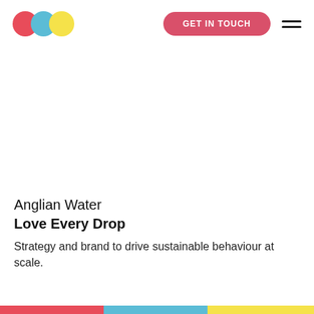[Figure (logo): Three overlapping circles logo: red, blue, yellow]
GET IN TOUCH
[Figure (other): Hamburger menu icon with two horizontal lines]
Anglian Water
Love Every Drop
Strategy and brand to drive sustainable behaviour at scale.